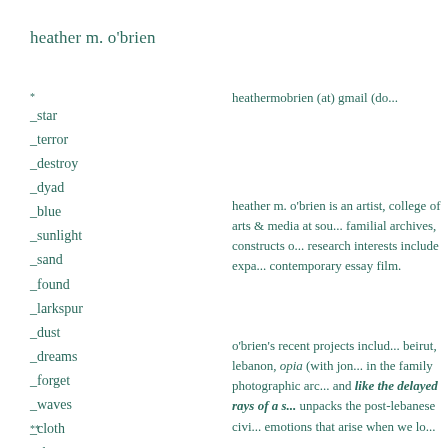heather m. o'brien
*
_star
_terror
_destroy
_dyad
_blue
_sunlight
_sand
_found
_larkspur
_dust
_dreams
_forget
_waves
_cloth
_show
_essex
_fabrics
**
heathermobrien (at) gmail (do...
heather m. o'brien is an artist, college of arts & media at sou... familial archives, constructs o... research interests include expa... contemporary essay film.
o'brien's recent projects inclu... beirut, lebanon, opia (with jon... in the family photographic arc... and like the delayed rays of a s... unpacks the post-lebanese civi... emotions that arise when we lo...